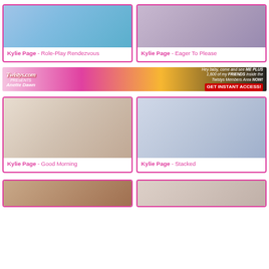[Figure (photo): Thumbnail photo for Kylie Page - Role-Play Rendezvous]
Kylie Page - Role-Play Rendezvous
[Figure (photo): Thumbnail photo for Kylie Page - Eager To Please]
Kylie Page - Eager To Please
[Figure (photo): Twistys.com banner featuring Anette Dawn - Hey baby, come and see ME PLUS 1,600 of my FRIENDS inside the Twistys Members Area NOW! GET INSTANT ACCESS!]
[Figure (photo): Thumbnail photo for Kylie Page - Good Morning]
Kylie Page - Good Morning
[Figure (photo): Thumbnail photo for Kylie Page - Stacked]
Kylie Page - Stacked
[Figure (photo): Thumbnail photo (bottom left, partially visible)]
[Figure (photo): Thumbnail photo (bottom right, partially visible)]